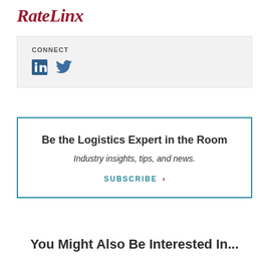RateLinx
CONNECT
[Figure (logo): LinkedIn and Twitter social media icons]
Be the Logistics Expert in the Room
Industry insights, tips, and news.
SUBSCRIBE ›
You Might Also Be Interested In...